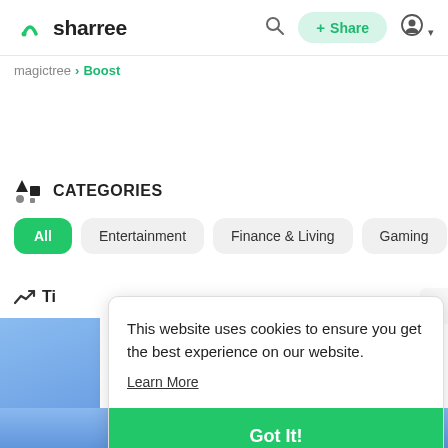sharree — search, + Share, user icon
magictree › Boost
CATEGORIES
All
Entertainment
Finance & Living
Gaming
Ti (Trending — partial)
This website uses cookies to ensure you get the best experience on our website.
Learn More
Got It!